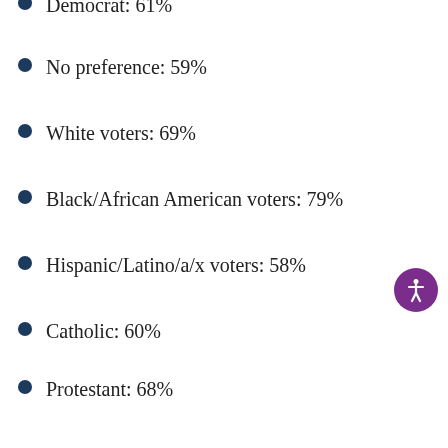Democrat: 61%
No preference: 59%
White voters: 69%
Black/African American voters: 79%
Hispanic/Latino/a/x voters: 58%
Catholic: 60%
Protestant: 68%
Christian (other than Catholics and Protestants):: 67%